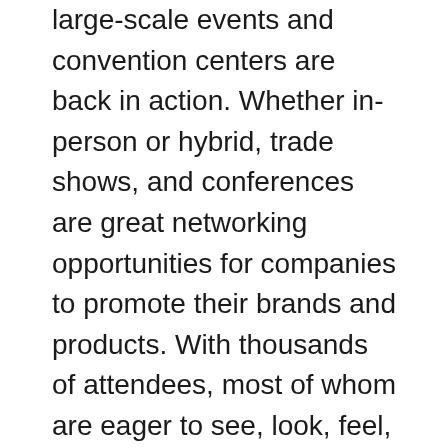large-scale events and convention centers are back in action. Whether in-person or hybrid, trade shows, and conferences are great networking opportunities for companies to promote their brands and products. With thousands of attendees, most of whom are eager to see, look, feel, and experience, these events put you in touch with a plethora of potential customers, partners, and even investors.
These conferences are a perfect way to showcase your product in the best light possible to a critical mass of like-minded people. With hundreds of companies fighting